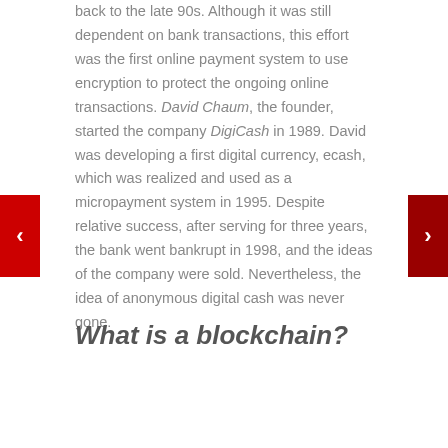back to the late 90s. Although it was still dependent on bank transactions, this effort was the first online payment system to use encryption to protect the ongoing online transactions. David Chaum, the founder, started the company DigiCash in 1989. David was developing a first digital currency, ecash, which was realized and used as a micropayment system in 1995. Despite relative success, after serving for three years, the bank went bankrupt in 1998, and the ideas of the company were sold. Nevertheless, the idea of anonymous digital cash was never gone.
What is a blockchain?